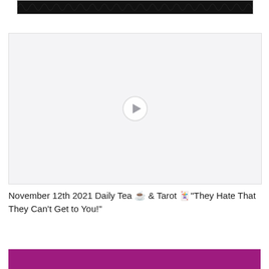[Figure (photo): Dark textured image, partially visible at top of page]
[Figure (screenshot): Video thumbnail placeholder with play button, light gray background]
November 12th 2021 Daily Tea ☕ & Tarot 🃏"They Hate That They Can't Get to You!"
[Figure (photo): Partially visible colorful image at bottom, pink/purple tones]